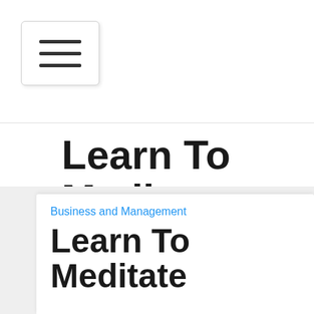[Figure (screenshot): Hamburger menu button with three horizontal lines, white background with light border and shadow]
Learn To Meditate With These Helpful Meditation Tips
[Figure (infographic): Social media share icons: Facebook (blue), Google+ (red), Twitter (blue), Plus/More (dark)]
Business and Management
Learn To Meditate